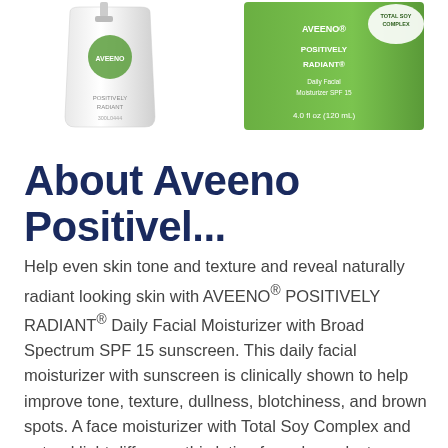[Figure (photo): Two Aveeno Positively Radiant product containers — a white lotion pump bottle on the left and a green box on the right showing '4.0 fl oz (120 ml)' — partially cropped at top]
About Aveeno Positivel...
Help even skin tone and texture and reveal naturally radiant looking skin with AVEENO® POSITIVELY RADIANT® Daily Facial Moisturizer with Broad Spectrum SPF 15 sunscreen. This daily facial moisturizer with sunscreen is clinically shown to help improve tone, texture, dullness, blotchiness, and brown spots. A face moisturizer with Total Soy Complex and natural light diffusers, this lotion formula works to even skin tone and texture, fight the signs of early skin aging, reduce the look of dark spots and reflect light to visibly smooth imperfections, leaving skin glowing. AVEENO® Positively Radiant® Facial